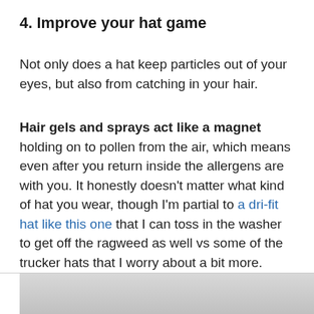4. Improve your hat game
Not only does a hat keep particles out of your eyes, but also from catching in your hair.
Hair gels and sprays act like a magnet holding on to pollen from the air, which means even after you return inside the allergens are with you. It honestly doesn’t matter what kind of hat you wear, though I’m partial to a dri-fit hat like this one that I can toss in the washer to get off the ragweed as well vs some of the trucker hats that I worry about a bit more.
[Figure (photo): Partial view of a photo at the bottom of the page, appears to show a light gray/white background scene.]